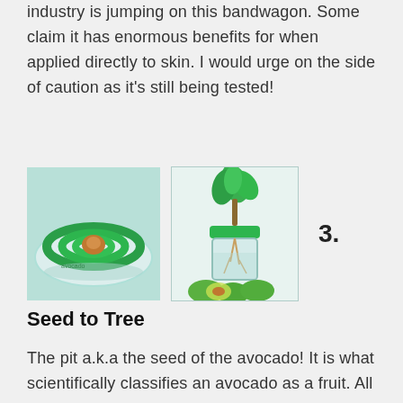industry is jumping on this bandwagon. Some claim it has enormous benefits for when applied directly to skin. I would urge on the side of caution as it's still being tested!
[Figure (photo): Two photos side by side: left photo shows a green avocado seed germination kit with a brown avocado seed suspended in green rings on a clear tray; right photo shows a sprouted avocado seed in a clear glass jar with green lid and green plant leaves growing from top, surrounded by green avocados and avocado halves. A bold '3.' appears to the right.]
Seed to Tree
The pit a.k.a the seed of the avocado! It is what scientifically classifies an avocado as a fruit. All